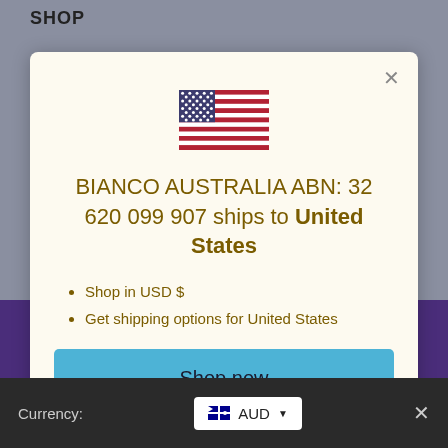SHOP
[Figure (illustration): US flag SVG illustration centered in modal]
BIANCO AUSTRALIA ABN: 32 620 099 907 ships to United States
Shop in USD $
Get shipping options for United States
Shop now
Change shipping country
Currency: AUD